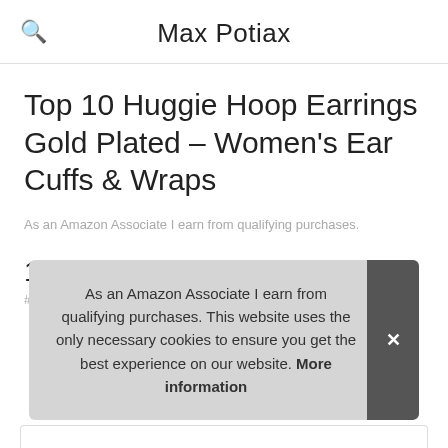Max Potiax
Top 10 Huggie Hoop Earrings Gold Plated – Women's Ear Cuffs & Wraps
As an Amazon Associate I earn from qualifying purchases.
1. BAYOL
#ad
As an Amazon Associate I earn from qualifying purchases. This website uses the only necessary cookies to ensure you get the best experience on our website. More information